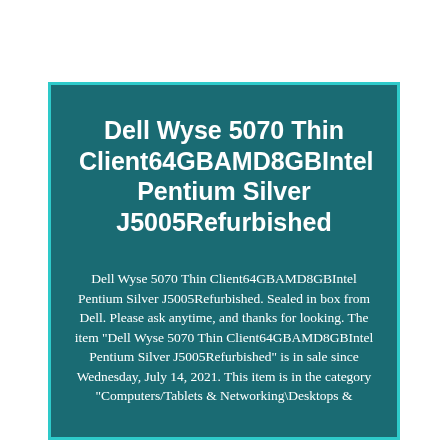Dell Wyse 5070 Thin Client64GBAMD8GBIntel Pentium Silver J5005Refurbished
Dell Wyse 5070 Thin Client64GBAMD8GBIntel Pentium Silver J5005Refurbished. Sealed in box from Dell. Please ask anytime, and thanks for looking. The item "Dell Wyse 5070 Thin Client64GBAMD8GBIntel Pentium Silver J5005Refurbished" is in sale since Wednesday, July 14, 2021. This item is in the category "Computers/Tablets & Networking\Desktops &